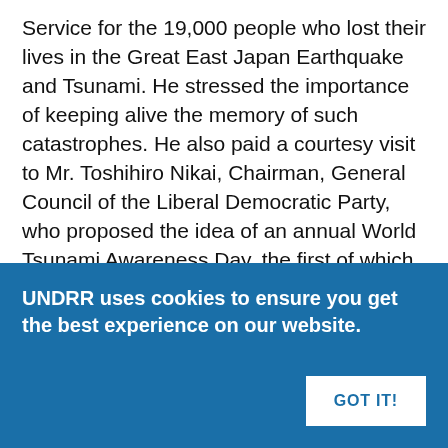Service for the 19,000 people who lost their lives in the Great East Japan Earthquake and Tsunami. He stressed the importance of keeping alive the memory of such catastrophes. He also paid a courtesy visit to Mr. Toshihiro Nikai, Chairman, General Council of the Liberal Democratic Party, who proposed the idea of an annual World Tsunami Awareness Day, the first of which will take place on 5 November.
While in Sendai, Mr. Glasser visited the seaside village of Arahama which was hit by a 10 metre tidal wave following the March 11 earthquake. The residents evacuated to the Arahama Elementary School, which was the only tall
UNDRR uses cookies to ensure you get the best experience on our website.